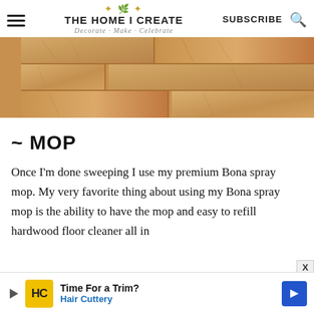THE HOME I CREATE — Decorate · Make · Celebrate
[Figure (photo): Close-up photo of light-colored hardwood floor planks with wood grain visible]
~ MOP
Once I'm done sweeping I use my premium Bona spray mop. My very favorite thing about using my Bona spray mop is the ability to have the mop and easy to refill hardwood floor cleaner all in
[Figure (infographic): Advertisement banner: Time For a Trim? Hair Cuttery]